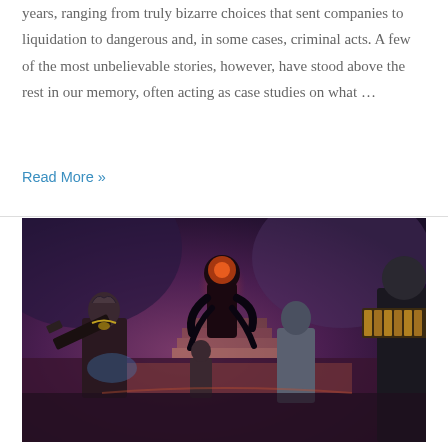years, ranging from truly bizarre choices that sent companies to liquidation to dangerous and, in some cases, criminal acts. A few of the most unbelievable stories, however, have stood above the rest in our memory, often acting as case studies on what …
Read More »
[Figure (photo): Video game screenshot showing armored characters in a dark fantasy/sci-fi setting. A large imposing dark creature/enemy stands in the center background on stairs, while armored player characters with weapons are visible in the foreground and sides. The environment has a purple/pink hued lighting with stone architecture.]